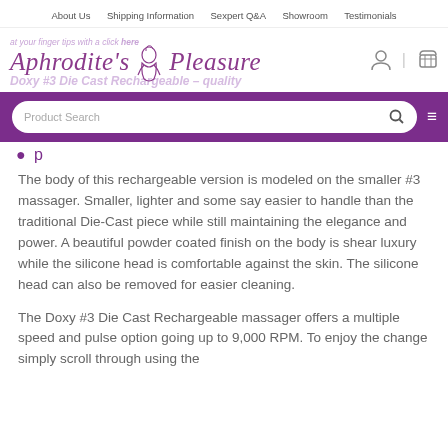About Us  Shipping Information  Sexpert Q&A  Showroom  Testimonials
[Figure (logo): Aphrodite's Pleasure script logo in purple with decorative female figure illustration, user icon and shopping cart icon on right]
[Figure (screenshot): Purple search bar with rounded white Product Search input field and hamburger menu icon]
The body of this rechargeable version is modeled on the smaller #3 massager.  Smaller, lighter and some say easier to handle than the traditional Die-Cast piece while still maintaining the elegance and power.  A beautiful powder coated finish on the body is shear luxury while the silicone head is comfortable against the skin.  The silicone head can also be removed for easier cleaning.
The Doxy #3 Die Cast Rechargeable massager offers a multiple speed and pulse option going up to 9,000 RPM.  To enjoy the change simply scroll through using the